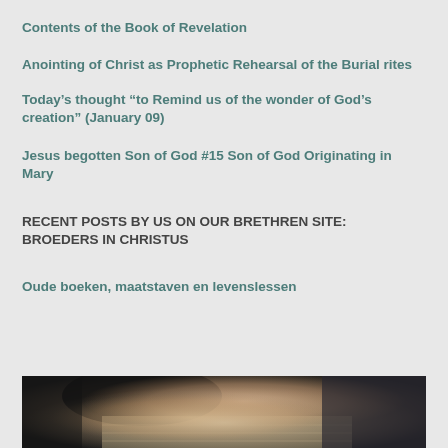Contents of the Book of Revelation
Anointing of Christ as Prophetic Rehearsal of the Burial rites
Today’s thought “to Remind us of the wonder of God’s creation” (January 09)
Jesus begotten Son of God #15 Son of God Originating in Mary
RECENT POSTS BY US ON OUR BRETHREN SITE: BROEDERS IN CHRISTUS
Oude boeken, maatstaven en levenslessen
[Figure (photo): A person's hands resting on an open book, likely a Bible, photographed from above at an angle. The image is dark with warm brown tones.]